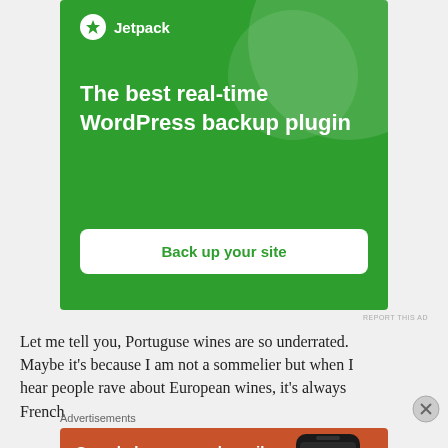[Figure (infographic): Jetpack WordPress backup plugin advertisement on green background with logo, headline 'The best real-time WordPress backup plugin' and 'Back up your site' button]
REPORT THIS AD
Let me tell you, Portuguse wines are so underrated. Maybe it's because I am not a sommelier but when I hear people rave about European wines, it's always French
[Figure (infographic): DuckDuckGo advertisement on orange/red background with text 'Search, browse, and email with more privacy. All in One Free App.' and phone mockup showing DuckDuckGo app]
Advertisements